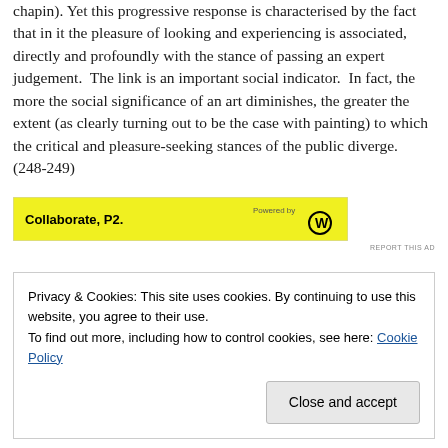chapin). Yet this progressive response is characterised by the fact that in it the pleasure of looking and experiencing is associated, directly and profoundly with the stance of passing an expert judgement.  The link is an important social indicator.  In fact, the more the social significance of an art diminishes, the greater the extent (as clearly turning out to be the case with painting) to which the critical and pleasure-seeking stances of the public diverge. (248-249)
[Figure (other): Advertisement banner: 'Collaborate, P2.' on yellow background, Powered by W logo]
Privacy & Cookies: This site uses cookies. By continuing to use this website, you agree to their use.
To find out more, including how to control cookies, see here: Cookie Policy